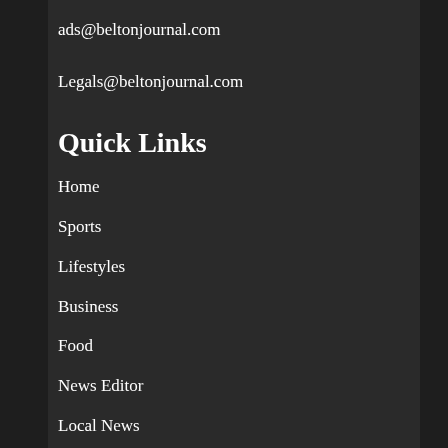ads@beltonjournal.com
Legals@beltonjournal.com
Quick Links
Home
Sports
Lifestyles
Business
Food
News Editor
Local News
Senior News